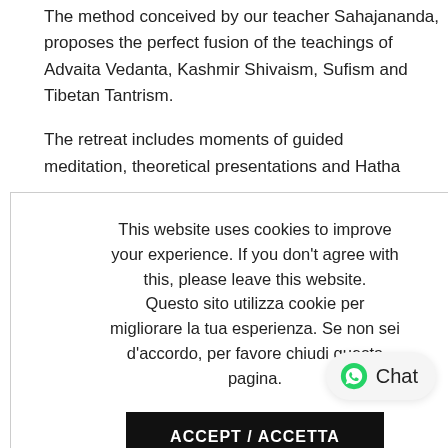The method conceived by our teacher Sahajananda, proposes the perfect fusion of the teachings of Advaita Vedanta, Kashmir Shivaism, Sufism and Tibetan Tantrism.
The retreat includes moments of guided meditation, theoretical presentations and Hatha ...
This website uses cookies to improve your experience. If you don't agree with this, please leave this website. Questo sito utilizza cookie per migliorare la tua esperienza. Se non sei d'accordo, per favore chiudi questa pagina.
ACCEPT / ACCETTA
Chat
pure inner stillness in which it is possible to find the